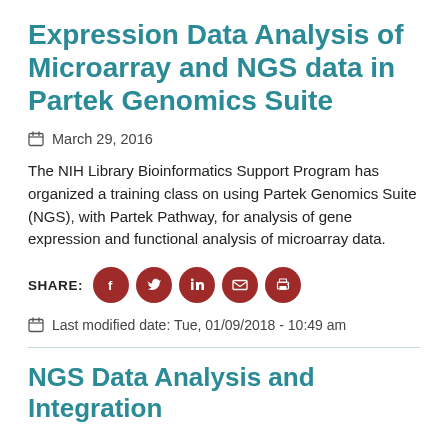Expression Data Analysis of Microarray and NGS data in Partek Genomics Suite
March 29, 2016
The NIH Library Bioinformatics Support Program has organized a training class on using Partek Genomics Suite (NGS), with Partek Pathway, for analysis of gene expression and functional analysis of microarray data.
SHARE:
Last modified date: Tue, 01/09/2018 - 10:49 am
NGS Data Analysis and Integration